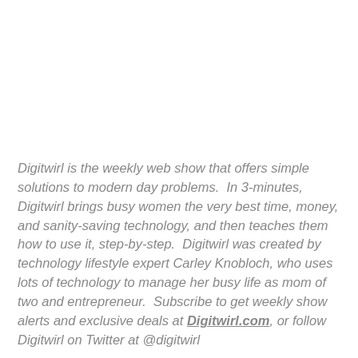Digitwirl is the weekly web show that offers simple solutions to modern day problems.  In 3-minutes, Digitwirl brings busy women the very best time, money, and sanity-saving technology, and then teaches them how to use it, step-by-step.  Digitwirl was created by technology lifestyle expert Carley Knobloch, who uses lots of technology to manage her busy life as mom of two and entrepreneur.  Subscribe to get weekly show alerts and exclusive deals at Digitwirl.com, or follow Digitwirl on Twitter at @digitwirl